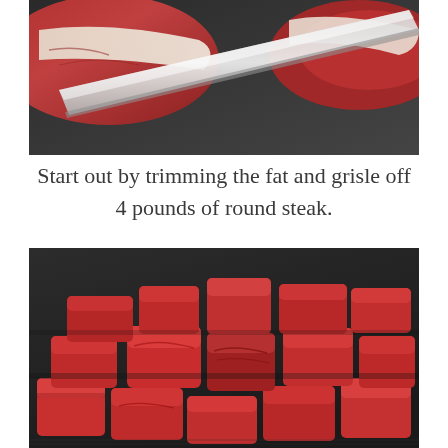[Figure (photo): Close-up photo of a knife trimming fat and gristle off a piece of raw round steak on a dark cutting board.]
Start out by trimming the fat and grisle off 4 pounds of round steak.
[Figure (photo): Photo of cubed raw round steak pieces on a dark cutting board after trimming.]